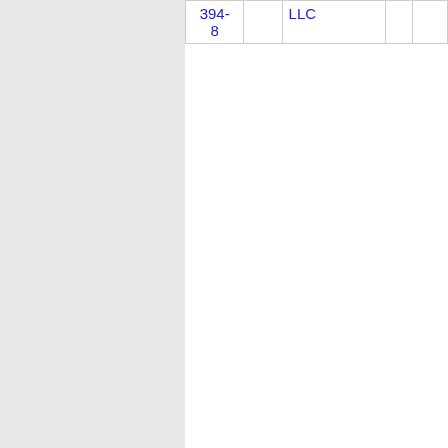| Number | State | Provider | Code | Name |
| --- | --- | --- | --- | --- |
| 394-8 |  | LLC |  |  |
| Thousands block for 606-396 |  |  |  |  |
| 606-396-0 | KY | TELNYX LLC | 073H | MONTICELLO |